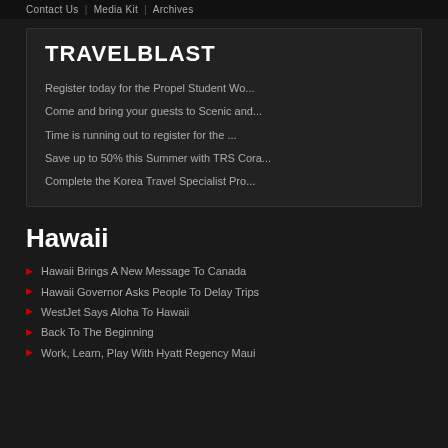Contact Us | Media Kit | Archives
TRAVELBLAST
Register today for the Propel Student Wo...
Come and bring your guests to Scenic and...
Time is running out to register for the ...
Save up to 50% this Summer with TRS Cora...
Complete the Korea Travel Specialist Pro...
Hawaii
Hawaii Brings A New Message To Canada
Hawaii Governor Asks People To Delay Trips
WestJet Says Aloha To Hawaii
Back To The Beginning
Work, Learn, Play With Hyatt Regency Maui